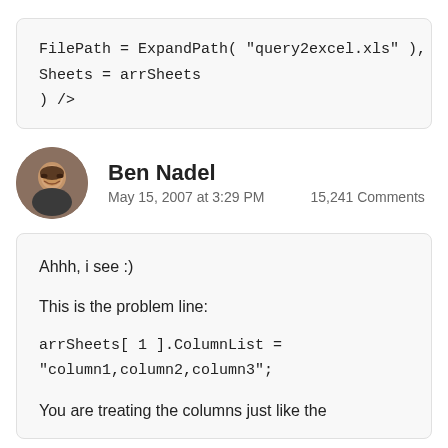FilePath = ExpandPath( "query2excel.xls" ),
Sheets = arrSheets
) />
Ben Nadel
May 15, 2007 at 3:29 PM    15,241 Comments
Ahhh, i see :)

This is the problem line:

arrSheets[ 1 ].ColumnList =
"column1,column2,column3";

You are treating the columns just like the